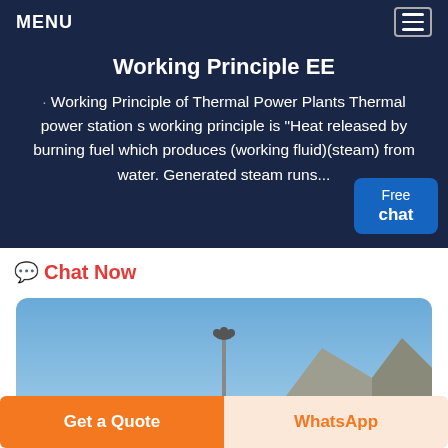MENU
Working Principle EE
· Working Principle of Thermal Power Plants Thermal power station s working principle is "Heat released by burning fuel which produces (working fluid)(steam) from water. Generated steam runs...
Free chat
Chat Now
[Figure (photo): Outdoor photo showing a clear blue sky, a tall light pole in the center, and a rocky hillside/mountain on the right side of the image.]
Get a Quote
WhatsApp